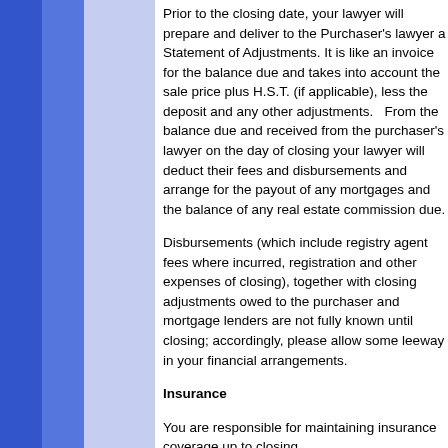Prior to the closing date, your lawyer will prepare and deliver to the Purchaser's lawyer a Statement of Adjustments. It is like an invoice for the balance due and takes into account the sale price plus H.S.T. (if applicable), less the deposit and any other adjustments.   From the balance due and received from the purchaser's lawyer on the day of closing your lawyer will deduct their fees and disbursements and arrange for the payout of any mortgages and the balance of any real estate commission due.
Disbursements (which include registry agent fees where incurred, registration and other expenses of closing), together with closing adjustments owed to the purchaser and mortgage lenders are not fully known until closing; accordingly, please allow some leeway in your financial arrangements.
Insurance
You are responsible for maintaining insurance coverage up to closing.
Property Taxes
If property taxes are due prior to closing, you should pay them and your lawyer will make